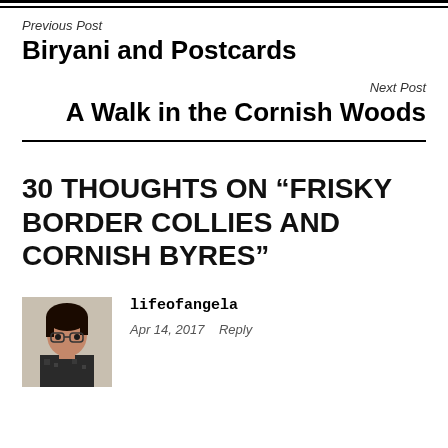Previous Post
Biryani and Postcards
Next Post
A Walk in the Cornish Woods
30 THOUGHTS ON “FRISKY BORDER COLLIES AND CORNISH BYRES”
lifeofangela
Apr 14, 2017   Reply